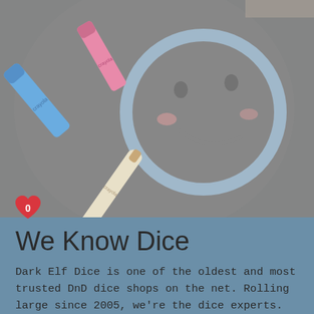[Figure (photo): Overhead photo of Crayola sidewalk chalk pieces (blue, pink, cream/white) lying on a concrete surface with a chalk drawing of a round smiling face (smiley) outlined in blue chalk]
[Figure (other): Red heart icon with the number 0 inside, indicating 0 likes]
We Know Dice
Dark Elf Dice is one of the oldest and most trusted DnD dice shops on the net. Rolling large since 2005, we're the dice experts. If you have any questions at any time give us a shout :)